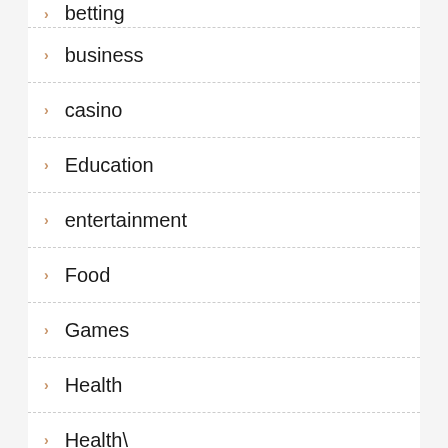betting
business
casino
Education
entertainment
Food
Games
Health
Health\
Home